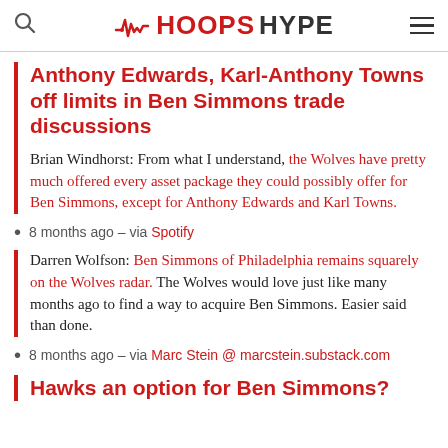HoopsHype
Anthony Edwards, Karl-Anthony Towns off limits in Ben Simmons trade discussions
Brian Windhorst: From what I understand, the Wolves have pretty much offered every asset package they could possibly offer for Ben Simmons, except for Anthony Edwards and Karl Towns.
8 months ago – via Spotify
Darren Wolfson: Ben Simmons of Philadelphia remains squarely on the Wolves radar. The Wolves would love just like many months ago to find a way to acquire Ben Simmons. Easier said than done.
8 months ago – via Marc Stein @ marcstein.substack.com
Hawks an option for Ben Simmons?